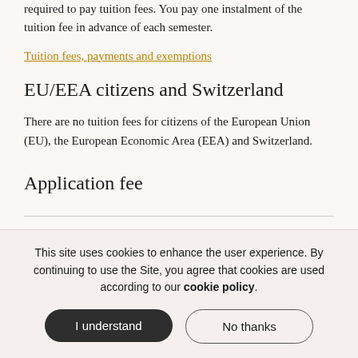required to pay tuition fees. You pay one instalment of the tuition fee in advance of each semester.
Tuition fees, payments and exemptions
EU/EEA citizens and Switzerland
There are no tuition fees for citizens of the European Union (EU), the European Economic Area (EEA) and Switzerland.
Application fee
This site uses cookies to enhance the user experience. By continuing to use the Site, you agree that cookies are used according to our cookie policy.
I understand
No thanks